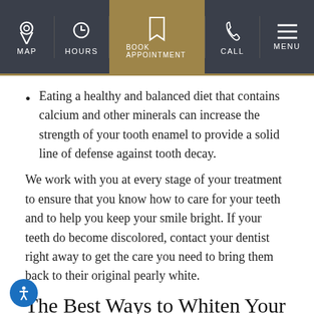MAP | HOURS | BOOK APPOINTMENT | CALL | MENU
Eating a healthy and balanced diet that contains calcium and other minerals can increase the strength of your tooth enamel to provide a solid line of defense against tooth decay.
We work with you at every stage of your treatment to ensure that you know how to care for your teeth and to help you keep your smile bright. If your teeth do become discolored, contact your dentist right away to get the care you need to bring them back to their original pearly white.
The Best Ways to Whiten Your Teeth
Whitening toothpastes and kits that are purchased over-counter at retail stores may promise fast and noticeable results. In most cases, however these products do not liv